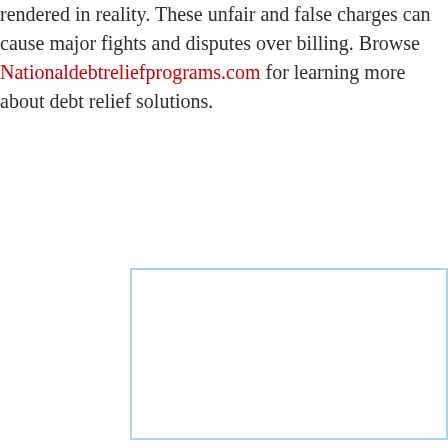rendered in reality. These unfair and false charges can cause major fights and disputes over billing. Browse Nationaldebtreliefprograms.com for learning more about debt relief solutions.
[Figure (other): Empty light blue bordered rectangle box]